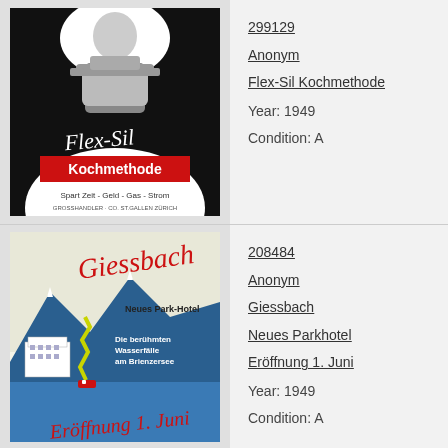[Figure (photo): Black and white advertisement image for Flex-Sil Kochmethode showing a woman holding a pot, with text 'Flex-Sil Kochmethode' and 'Spart Zeit - Geld - Gas - Strom']
299129
Anonym
Flex-Sil Kochmethode
Year: 1949
Condition: A
[Figure (photo): Colorful travel poster for Giessbach Neues Park-Hotel showing mountains, a waterfall, and a hotel building with text 'Die berühmten Wasserfälle am Brienzersee' and 'Eröffnung 1. Juni']
208484
Anonym
Giessbach
Neues Parkhotel
Eröffnung 1. Juni
Year: 1949
Condition: A